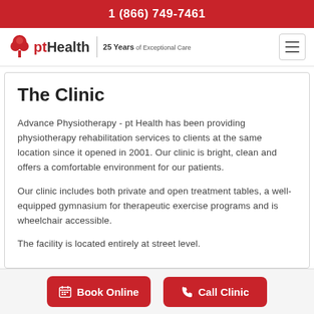1 (866) 749-7461
[Figure (logo): pt Health logo with tree icon and '25 Years of Exceptional Care' text, plus hamburger menu icon]
The Clinic
Advance Physiotherapy - pt Health has been providing physiotherapy rehabilitation services to clients at the same location since it opened in 2001. Our clinic is bright, clean and offers a comfortable environment for our patients.
Our clinic includes both private and open treatment tables, a well-equipped gymnasium for therapeutic exercise programs and is wheelchair accessible.
The facility is located entirely at street level.
Book Online | Call Clinic